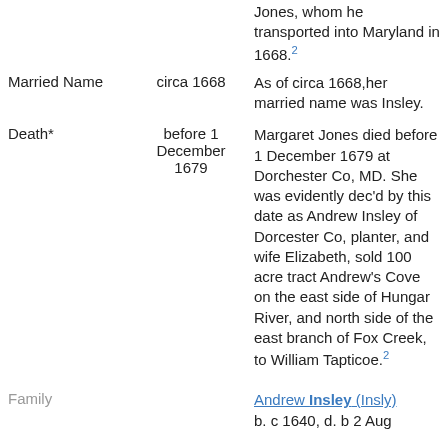Jones, whom he transported into Maryland in 1668.2
Married Name  circa 1668  As of circa 1668,her married name was Insley.
Death*  before 1 December 1679  Margaret Jones died before 1 December 1679 at Dorchester Co, MD. She was evidently dec'd by this date as Andrew Insley of Dorcester Co, planter, and wife Elizabeth, sold 100 acre tract Andrew's Cove on the east side of Hungar River, and north side of the east branch of Fox Creek, to William Tapticoe.2
Family  Andrew Insley (Insly) b. c 1640, d. b 2 Aug